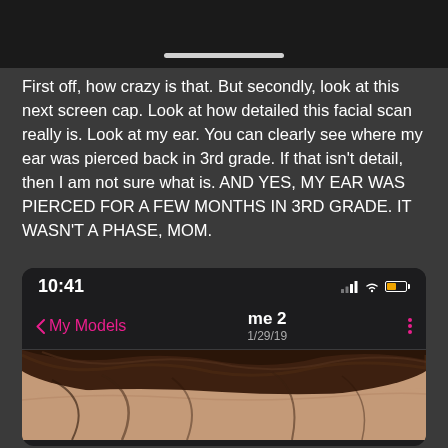[Figure (screenshot): Top portion of a mobile app screenshot with dark background and a white scroll indicator bar at bottom]
First off, how crazy is that. But secondly, look at this next screen cap. Look at how detailed this facial scan really is. Look at my ear. You can clearly see where my ear was pierced back in 3rd grade. If that isn't detail, then I am not sure what is. AND YES, MY EAR WAS PIERCED FOR A FEW MONTHS IN 3RD GRADE. IT WASN'T A PHASE, MOM.
[Figure (screenshot): iPhone screenshot showing a 3D model app at 10:41 with navigation bar 'My Models' and title 'me 2' dated 1/29/19, with a partial view of a facial scan showing hair and forehead]